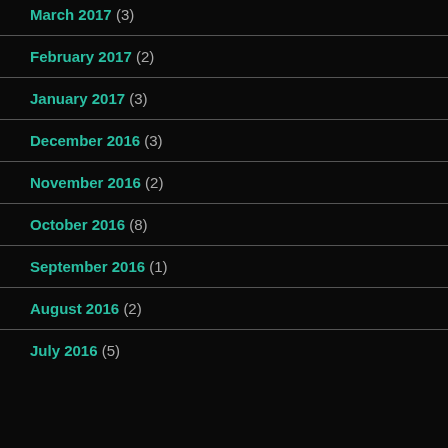March 2017 (3)
February 2017 (2)
January 2017 (3)
December 2016 (3)
November 2016 (2)
October 2016 (8)
September 2016 (1)
August 2016 (2)
July 2016 (5)